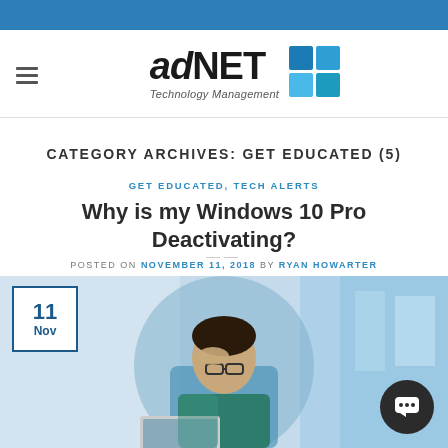[Figure (logo): adNET Technology Management logo with grid icon]
CATEGORY ARCHIVES: GET EDUCATED (5)
GET EDUCATED, TECH ALERTS
Why is my Windows 10 Pro Deactivating?
POSTED ON NOVEMBER 11, 2018 BY RYAN HOWARTER
[Figure (photo): Man with glasses holding his head in frustration in front of a laptop computer]